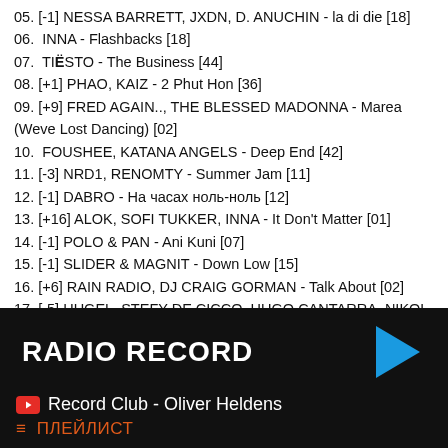05. [-1] NESSA BARRETT, JXDN, D. ANUCHIN - la di die [18]
06.  INNA - Flashbacks [18]
07.  TIËSTO - The Business [44]
08. [+1] PHAO, KAIZ - 2 Phut Hon [36]
09. [+9] FRED AGAIN.., THE BLESSED MADONNA - Marea (Weve Lost Dancing) [02]
10.  FOUSHEE, KATANA ANGELS - Deep End [42]
11. [-3] NRD1, RENOMTY - Summer Jam [11]
12. [-1] DABRO - На часах ноль-ноль [12]
13. [+16] ALOK, SOFI TUKKER, INNA - It Don't Matter [01]
14. [-1] POLO & PAN - Ani Kuni [07]
15. [-1] SLIDER & MAGNIT - Down Low [15]
16. [+6] RAIN RADIO, DJ CRAIG GORMAN - Talk About [02]
17. [-5] HUGEL, STEFY DE CICCO, HUGO CANTARRA, NIKOL APATINI - 4 to the Floor [24]
18. [-2] DEAR BLONDIE - M... [14]
RADIO RECORD
Record Club - Oliver Heldens
≡  ПЛЕЙЛИСТ